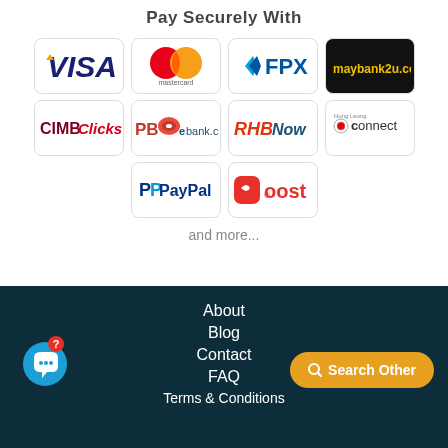Pay Securely With
[Figure (infographic): Payment method logos grid: VISA, Mastercard, FPX, maybank2u.com, CIMB Clicks, PBebank.com, RHBNow, Hong Leong Connect, PayPal, Boost]
and more...
About
Blog
Contact
FAQ
Terms & Conditions